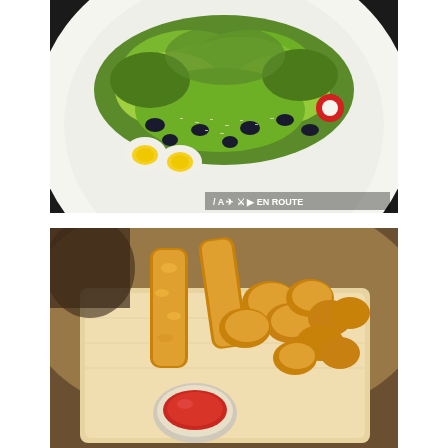[Figure (photo): Close-up food photo of a salad on a white plate on a dark surface. The salad features green leafy lettuce (frisée), black olives, halved boiled eggs, red radish, and grated cheese. A watermark reads '/ A X II I > EN ROUTE www.lymas-enroute.com' in the bottom right corner.]
[Figure (photo): Close-up food photo of golden crispy fried food items (appears to be fried fish fingers or popcorn chicken/shrimp) served in a paper-lined basket or tray, with a small round dipping bowl of red ketchup or tomato sauce in the foreground.]